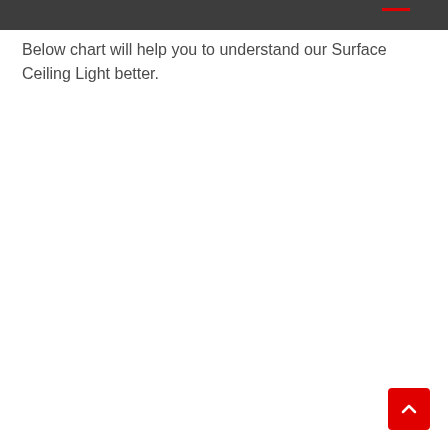Below chart will help you to understand our Surface Ceiling Light better.